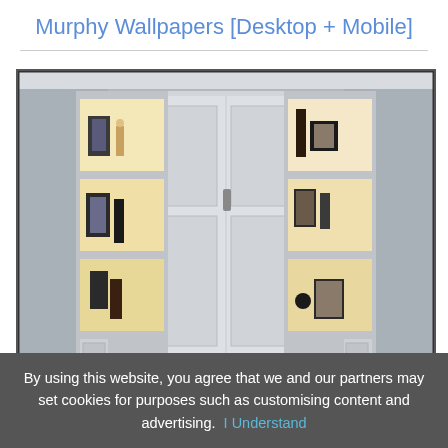Murphy Wallpapers [Desktop + Mobile]
[Figure (photo): A Murphy wall bed with white cabinetry, flanked by two sets of illuminated display shelves containing decorative items including framed photos, vases, and candles. The center panel shows large double-door cabinet doors with handles.]
By using this website, you agree that we and our partners may set cookies for purposes such as customising content and advertising.  I Understand